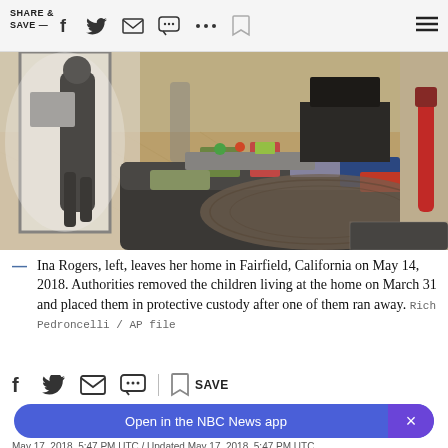SHARE & SAVE —  [social icons]  [hamburger menu]
[Figure (photo): Interior of a home in Fairfield, California. A woman is seen leaving through the front door. The living room shows a dark leather sofa covered in clothes and items, a patterned area rug, a TV on a stand in the background, and wood flooring. A red vacuum or similar item is visible on the right side.]
Ina Rogers, left, leaves her home in Fairfield, California on May 14, 2018. Authorities removed the children living at the home on March 31 and placed them in protective custody after one of them ran away. Rich Pedroncelli / AP file
May 17, 2018, 5:47 PM UTC / Updated May 17, 2018, 5:47 PM UTC